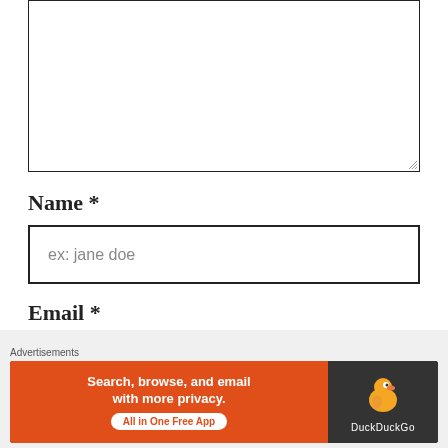[Figure (screenshot): Empty textarea input box with resize handle at bottom-right corner]
Name *
[Figure (screenshot): Name text input field with placeholder text 'ex: jane doe']
Email *
[Figure (screenshot): Email text input field with placeholder text 'ex: janedoe@gmail.com']
Advertisements
[Figure (screenshot): DuckDuckGo advertisement banner: 'Search, browse, and email with more privacy. All in One Free App' with DuckDuckGo logo on right]